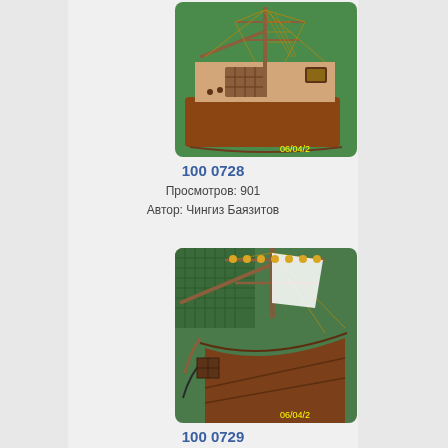[Figure (photo): Photograph of a wooden ship model with masts, rigging and sails, displayed on a green background, with timestamp 06/04/2 visible]
100 0728
Просмотров: 901
Автор: Чингиз Баязитов
[Figure (photo): Photograph of a wooden ship model showing the bow and bowsprit detail, against a green background, with timestamp 06/04/2 visible]
100 0729
Просмотров: 1156
Автор: Чингиз Баязитов